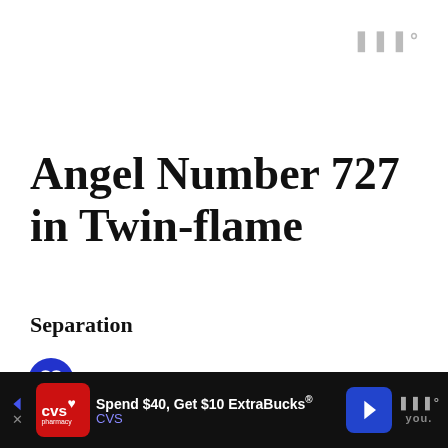⬛⬛⬛°
Angel Number 727 in Twin-flame
Separation
Usually, the number 727 appears when you are separated by your Twin-flame. This can
[Figure (other): Advertisement banner for CVS pharmacy: Spend $40, Get $10 ExtraBucks®, CVS, with navigation arrows and a logo icon]